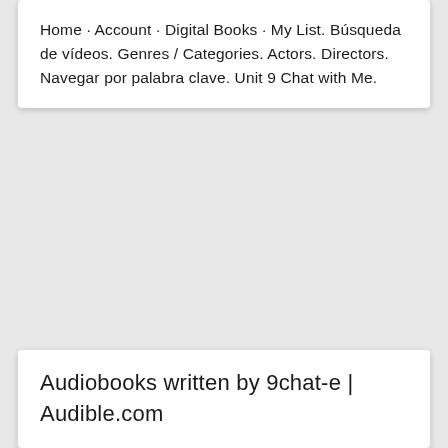Home · Account · Digital Books · My List. Búsqueda de vídeos. Genres / Categories. Actors. Directors. Navegar por palabra clave. Unit 9 Chat with Me.
Audiobooks written by 9chat-e | Audible.com